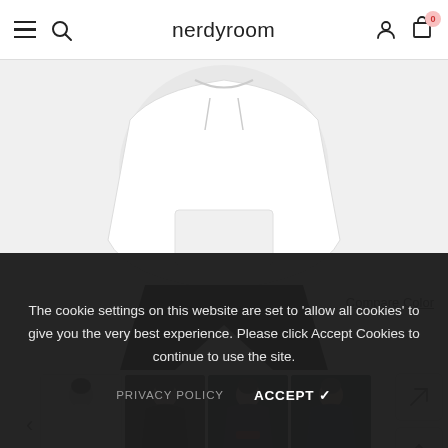nerdyroom
[Figure (photo): Main product image: white hoodie worn by model, cropped to show torso and lower body with black pants]
Compare Color
[Figure (photo): Thumbnail row showing 4 hoodie color variants: white, black, navy, dark navy, worn by young model]
NANI??? Embroidered Anime Hoodie,
Streetwear Unisex Hoodie
Sold in last 12 hours
Availability: Many in Stock
The cookie settings on this website are set to 'allow all cookies' to give you the very best experience. Please click Accept Cookies to continue to use the site.
PRIVACY POLICY   ACCEPT ✓